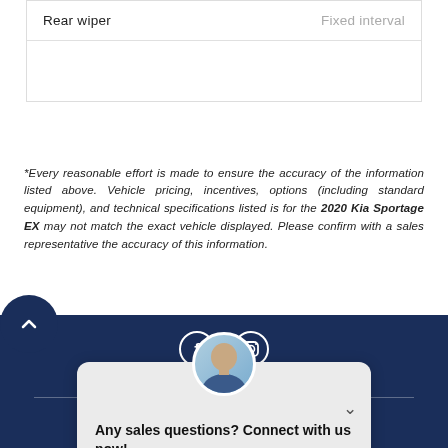| Rear wiper | Fixed interval |
*Every reasonable effort is made to ensure the accuracy of the information listed above. Vehicle pricing, incentives, options (including standard equipment), and technical specifications listed is for the 2020 Kia Sportage EX may not match the exact vehicle displayed. Please confirm with a sales representative the accuracy of this information.
[Figure (screenshot): Footer section with Facebook and Instagram social media icons, Back to Top link, divider line, and a chat widget with avatar, TEXT and CHAT buttons on dark navy background]